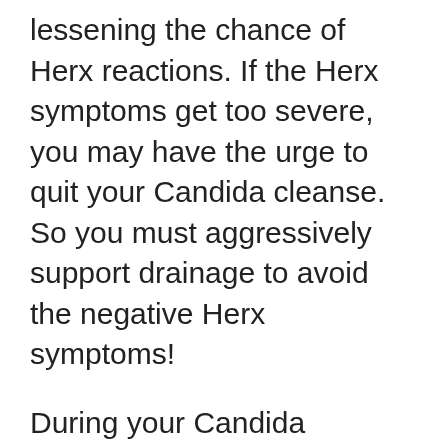lessening the chance of Herx reactions. If the Herx symptoms get too severe, you may have the urge to quit your Candida cleanse. So you must aggressively support drainage to avoid the negative Herx symptoms!
During your Candida Support Protocol, be sure to include products that help liver and kidney drainage. Candida damages the liver and suppresses it from functioning normally. The liver plays a big role in toxin removal. If it isn't operating well, these endotoxins will get backed up and stagnate, causing the Herx reaction. You may consider TUDCA, which has